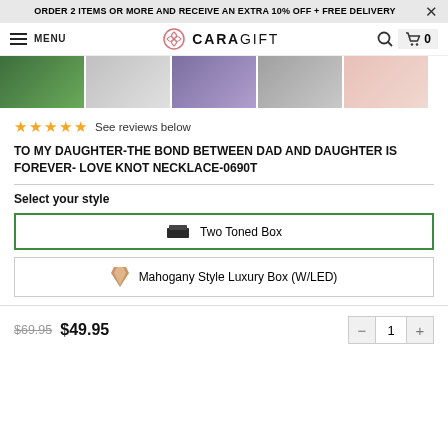ORDER 2 ITEMS OR MORE AND RECEIVE AN EXTRA 10% OFF + FREE DELIVERY
MENU  CARAGIFT
[Figure (photo): Five product thumbnail images showing jewelry gift boxes in various colors (green, grey, purple, grey, pink)]
★★★★★ See reviews below
TO MY DAUGHTER-THE BOND BETWEEN DAD AND DAUGHTER IS FOREVER- LOVE KNOT NECKLACE-0690T
Select your style
Two Toned Box
Mahogany Style Luxury Box (W/LED)
$69.95  $49.95
1